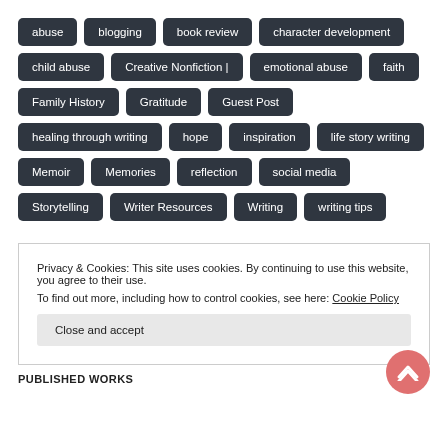abuse
blogging
book review
character development
child abuse
Creative Nonfiction |
emotional abuse
faith
Family History
Gratitude
Guest Post
healing through writing
hope
inspiration
life story writing
Memoir
Memories
reflection
social media
Storytelling
Writer Resources
Writing
writing tips
Privacy & Cookies: This site uses cookies. By continuing to use this website, you agree to their use.
To find out more, including how to control cookies, see here: Cookie Policy
Close and accept
PUBLISHED WORKS